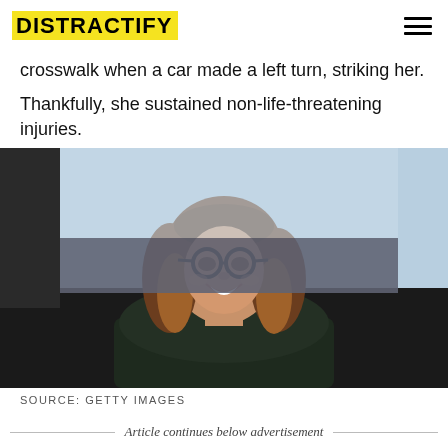DISTRACTIFY
crosswalk when a car made a left turn, striking her.
Thankfully, she sustained non-life-threatening injuries.
[Figure (photo): Woman with brown wavy hair and black glasses smiling, wearing a dark fur coat, at an event. Blue/dark background.]
SOURCE: GETTY IMAGES
Article continues below advertisement